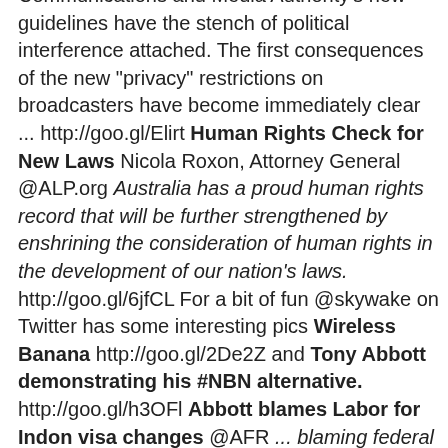Communications and Media Authority's new guidelines have the stench of political interference attached. The first consequences of the new "privacy" restrictions on broadcasters have become immediately clear ...[i] http://goo.gl/Elirt [b]Human Rights Check for New Laws[/b] Nicola Roxon, Attorney General @ALP.org [i]Australia has a proud human rights record that will be further strengthened by enshrining the consideration of human rights in the development of our nation's laws.[/i] http://goo.gl/6jfCL For a bit of fun @skywake on Twitter has some interesting pics [b]Wireless Banana[/b] http://goo.gl/2De2Z and [b]Tony Abbott demonstrating his #NBN alternative.[/b] http://goo.gl/h3OFl [b]Abbott blames Labor for Indon visa changes[/b] @AFR [i]... blaming federal government dysfunction for a change in Indonesian immigration policy that could boost the number of asylum seeker boats heading to Australia.[/i] http://goo.gl/av1Xf [b]Abbott welcomes business IR push[/b] viaAAP @TheWestAus [i]... has welcomed a